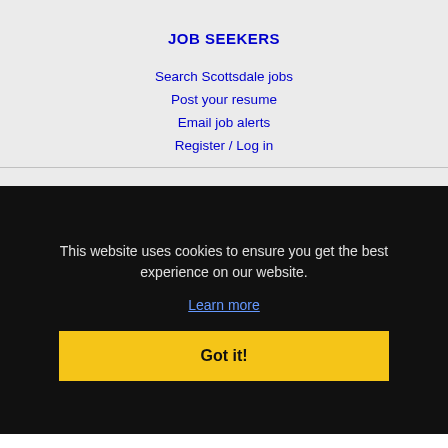JOB SEEKERS
Search Scottsdale jobs
Post your resume
Email job alerts
Register / Log in
EMPLOYERS
This website uses cookies to ensure you get the best experience on our website.
Learn more
Got it!
IMMIGRATION SPECIALISTS